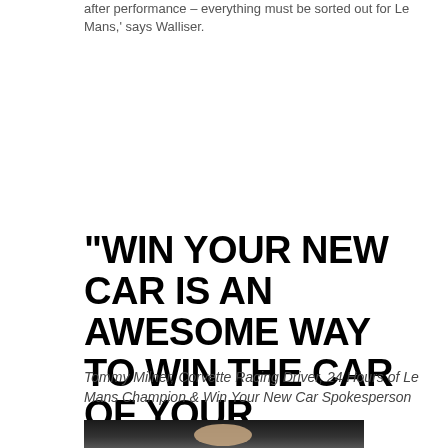after performance – everything must be sorted out for Le Mans,' says Walliser.
“WIN YOUR NEW CAR IS AN AWESOME WAY TO WIN THE CAR OF YOUR DREAMS!"
Tommy Milner, Corvette Racing Driver, 24 Hours of Le Mans Champion & Win Your New Car Spokesperson
[Figure (photo): Photo of Tommy Milner, a man, shown from the shoulders up against a dark/black background.]